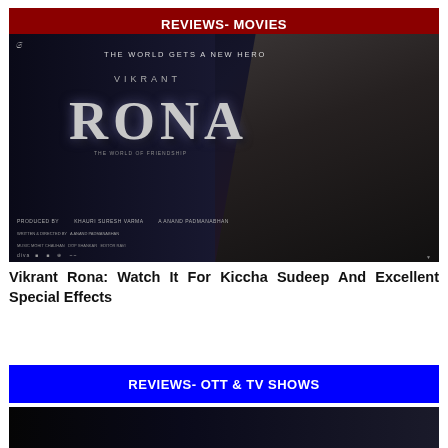REVIEWS- MOVIES
[Figure (photo): Movie poster for Vikrant Rona showing the text 'THE WORLD GETS A NEW HERO', 'VIKRANT RONA' in large stylized letters, and a bearded man in a hat on the right side against a dark background.]
Vikrant Rona: Watch It For Kiccha Sudeep And Excellent Special Effects
REVIEWS- OTT & TV SHOWS
[Figure (photo): Dark cinematic image partially visible at the bottom of the page.]